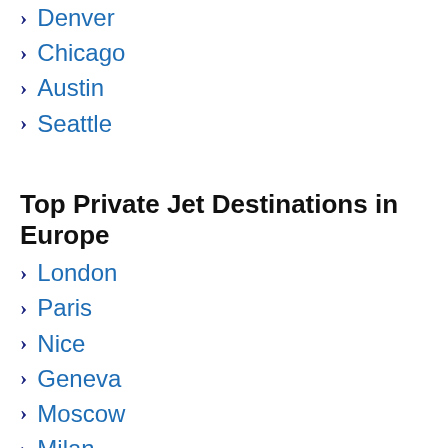Denver
Chicago
Austin
Seattle
Top Private Jet Destinations in Europe
London
Paris
Nice
Geneva
Moscow
Milan